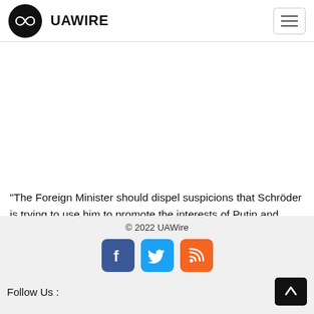UAWIRE
"The Foreign Minister should dispel suspicions that Schröder is trying to use him to promote the interests of Putin and …
© 2022 UAWire
Follow Us :